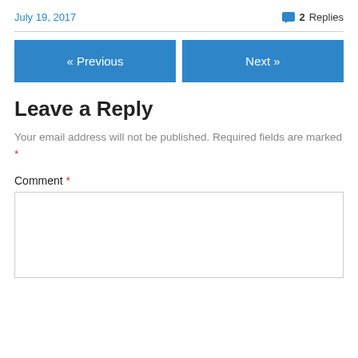July 19, 2017   2 Replies
« Previous   Next »
Leave a Reply
Your email address will not be published. Required fields are marked *
Comment *